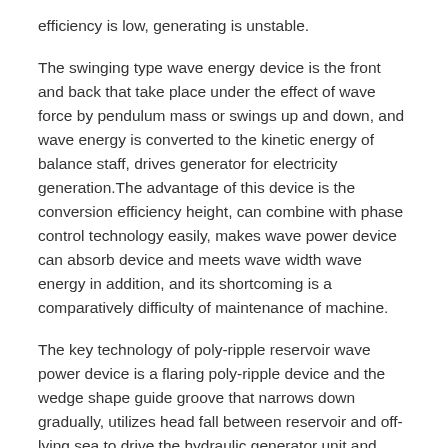efficiency is low, generating is unstable.
The swinging type wave energy device is the front and back that take place under the effect of wave force by pendulum mass or swings up and down, and wave energy is converted to the kinetic energy of balance staff, drives generator for electricity generation.The advantage of this device is the conversion efficiency height, can combine with phase control technology easily, makes wave power device can absorb device and meets wave width wave energy in addition, and its shortcoming is a comparatively difficulty of maintenance of machine.
The key technology of poly-ripple reservoir wave power device is a flaring poly-ripple device and the wedge shape guide groove that narrows down gradually, utilizes head fall between reservoir and off-lying sea to drive the hydraulic generator unit and generates electricity.The advantage of poly-ripple reservoir wave power device is that the conversion of wave energy need not to be provided with movable part, and good reliability and stable, weak point are that this power station of construction is strict to landform, are difficult for promoting.